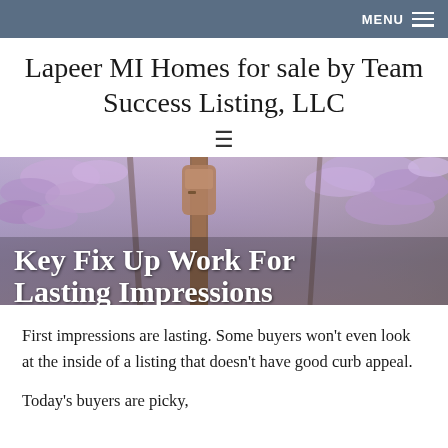MENU ≡
Lapeer MI Homes for sale by Team Success Listing, LLC
≡
[Figure (photo): Background photo of wisteria blossoms and a copper/bronze parking meter or post, with purple flowering trees in background. Overlaid with large white bold text: Key Fix Up Work For Lasting Impressions]
First impressions are lasting. Some buyers won't even look at the inside of a listing that doesn't have good curb appeal.
Today's buyers are picky,